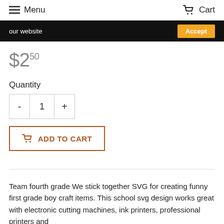Menu  Cart
our website  Accept
$2.50
Quantity
- 1 +
ADD TO CART
Team fourth grade We stick together SVG for creating funny first grade boy craft items. This school svg design works great with electronic cutting machines, ink printers, professional printers and